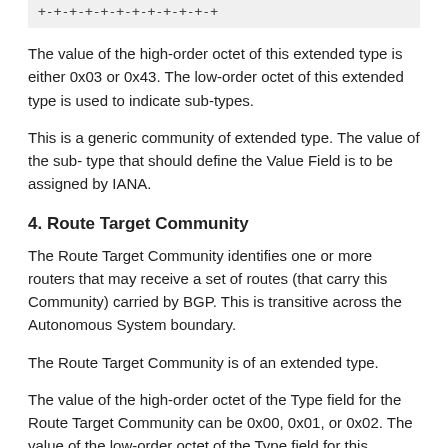[Figure (other): ASCII art diagram showing a row of plus signs and dashes: +-+-+-+-+-+-+-+-+-+-+-+]
The value of the high-order octet of this extended type is either 0x03 or 0x43. The low-order octet of this extended type is used to indicate sub-types.
This is a generic community of extended type. The value of the sub- type that should define the Value Field is to be assigned by IANA.
4. Route Target Community
The Route Target Community identifies one or more routers that may receive a set of routes (that carry this Community) carried by BGP. This is transitive across the Autonomous System boundary.
The Route Target Community is of an extended type.
The value of the high-order octet of the Type field for the Route Target Community can be 0x00, 0x01, or 0x02. The value of the low-order octet of the Type field for this